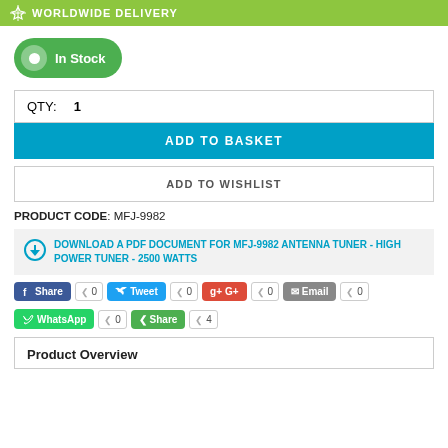WORLDWIDE DELIVERY
In Stock
QTY: 1
ADD TO BASKET
ADD TO WISHLIST
PRODUCT CODE: MFJ-9982
DOWNLOAD A PDF DOCUMENT FOR MFJ-9982 ANTENNA TUNER - HIGH POWER TUNER - 2500 WATTS
Share 0  Tweet 0  G+ 0  Email 0  WhatsApp 0  Share 4
Product Overview